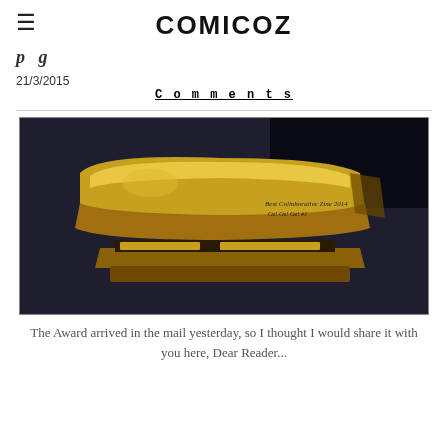COMICOZ
p g
21/3/2015
Comments
[Figure (photo): A gold-colored stapler on a dark gray surface, with handwritten text on it reading 'Best Collaborative Zine 2014 Oz! Oz! Oz! #1']
The Award arrived in the mail yesterday, so I thought I would share it with you here, Dear Reader...